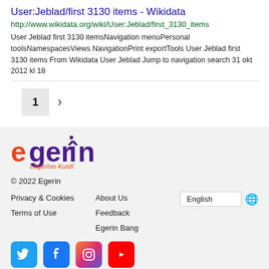User:Jeblad/first 3130 items - Wikidata
http://www.wikidata.org/wiki/User:Jeblad/first_3130_items
User Jeblad first 3130 itemsNavigation menuPersonal toolsNamespacesViews NavigationPrint exportTools User Jeblad first 3130 items From Wikidata User Jeblad Jump to navigation search 31 okt 2012 kl 18
1
[Figure (logo): Egerin logo with stylized text 'egerîn' in purple/orange and tagline 'Lêgerîno Kurdî']
© 2022 Egerin
Privacy & Cookies
About Us
English
Feedback
Terms of Use
Egerin Bang
[Figure (illustration): Social media icons: Twitter (blue bird), Facebook (blue F), Instagram (gradient camera), YouTube (red play button)]